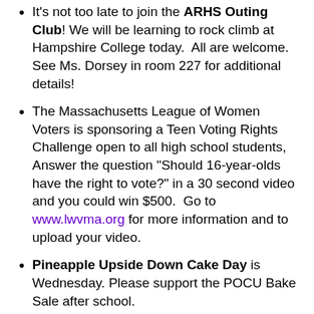It's not too late to join the ARHS Outing Club! We will be learning to rock climb at Hampshire College today.  All are welcome.  See Ms. Dorsey in room 227 for additional details!
The Massachusetts League of Women Voters is sponsoring a Teen Voting Rights Challenge open to all high school students,  Answer the question "Should 16-year-olds have the right to vote?" in a 30 second video and you could win $500.  Go to www.lwvma.org for more information and to upload your video.
Pineapple Upside Down Cake Day is Wednesday. Please support the POCU Bake Sale after school.
Student advisory council will meet after school today in Mr. Thompson's room.
Have you ever held a paint brush?  Do you like free snacks?  Come help us paint some BIG signs for Fort River School's upcoming math